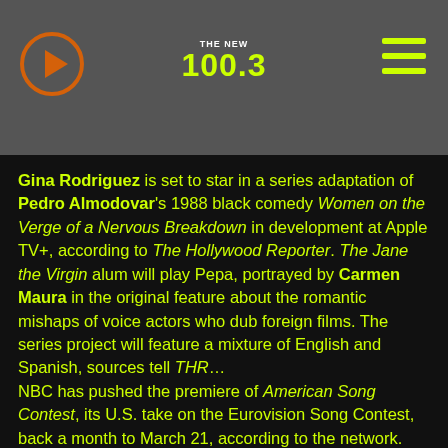THE NEW 100.3
Gina Rodriguez is set to star in a series adaptation of Pedro Almodovar's 1988 black comedy Women on the Verge of a Nervous Breakdown in development at Apple TV+, according to The Hollywood Reporter. The Jane the Virgin alum will play Pepa, portrayed by Carmen Maura in the original feature about the romantic mishaps of voice actors who dub foreign films. The series project will feature a mixture of English and Spanish, sources tell THR…
NBC has pushed the premiere of American Song Contest, its U.S. take on the Eurovision Song Contest, back a month to March 21, according to the network. The delay is due to COVID-19 concerns when it comes to having a live audience. In its place, NBC will air America's Got Talent Extreme which...